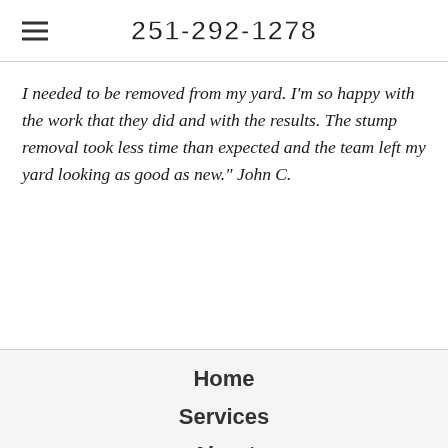251-292-1278
I needed to be removed from my yard. I'm so happy with the work that they did and with the results. The stump removal took less time than expected and the team left my yard looking as good as new." John C.
Home
Services
About